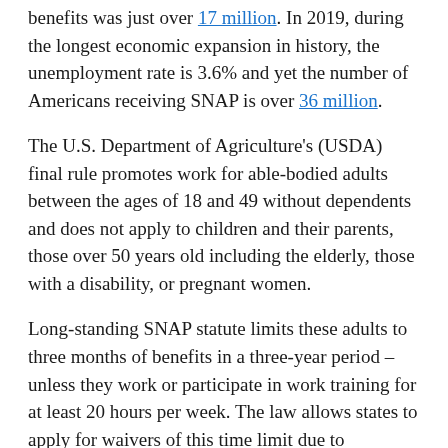benefits was just over 17 million. In 2019, during the longest economic expansion in history, the unemployment rate is 3.6% and yet the number of Americans receiving SNAP is over 36 million.
The U.S. Department of Agriculture's (USDA) final rule promotes work for able-bodied adults between the ages of 18 and 49 without dependents and does not apply to children and their parents, those over 50 years old including the elderly, those with a disability, or pregnant women.
Long-standing SNAP statute limits these adults to three months of benefits in a three-year period – unless they work or participate in work training for at least 20 hours per week. The law allows states to apply for waivers of this time limit due to economic conditions, but prior to the rule, counties with an unemployment rate as low as 2.5% were included in waived areas. Under USDA's rule, states retain their statutory flexibility to waive the time-limit in areas of high